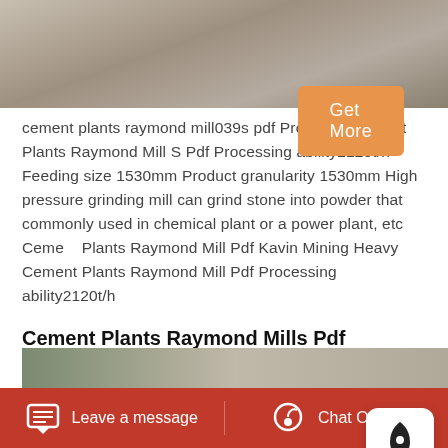[Figure (photo): Top portion of a photo showing a stone/concrete surface, partially visible, grey/beige tones.]
cement plants raymond mill039s pdf Products. Cement Plants Raymond Mill S Pdf Processing ability2120t/h Feeding size 1530mm Product granularity 1530mm High pressure grinding mill can grind stone into powder that commonly used in chemical plant or a power plant, etc Cement Plants Raymond Mill Pdf Kavin Mining Heavy Cement Plants Raymond Mill Pdf Processing ability2120t/h
[Figure (illustration): Rocket icon popup widget on white rounded rectangle background.]
Get More
Cement Plants Raymond Mills Pdf
[Figure (photo): Bottom strip of a photo, partially visible, showing outdoor industrial scene.]
Leave a message
Chat Online